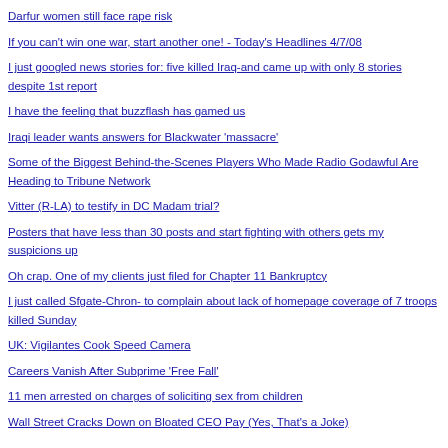Darfur women still face rape risk
If you can't win one war, start another one! - Today's Headlines 4/7/08
I just googled news stories for: five killed Iraq-and came up with only 8 stories despite 1st report
I have the feeling that buzzflash has gamed us
Iraqi leader wants answers for Blackwater 'massacre'
Some of the Biggest Behind-the-Scenes Players Who Made Radio Godawful Are Heading to Tribune Network
Vitter (R-LA) to testify in DC Madam trial?
Posters that have less than 30 posts and start fighting with others gets my suspicions up
Oh crap. One of my clients just filed for Chapter 11 Bankruptcy
I just called Sfgate-Chron- to complain about lack of homepage coverage of 7 troops killed Sunday
UK: Vigilantes Cook Speed Camera
Careers Vanish After Subprime 'Free Fall'
11 men arrested on charges of soliciting sex from children
Wall Street Cracks Down on Bloated CEO Pay (Yes, That's a Joke)